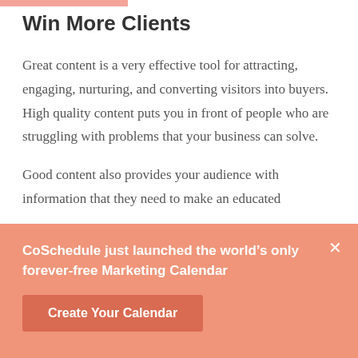Win More Clients
Great content is a very effective tool for attracting, engaging, nurturing, and converting visitors into buyers. High quality content puts you in front of people who are struggling with problems that your business can solve.
Good content also provides your audience with information that they need to make an educated
CoSchedule just launched the world's only forever-free Marketing Calendar
Create Your Calendar